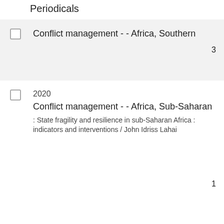Periodicals
Conflict management - - Africa, Southern
Conflict management - - Africa, Sub-Saharan